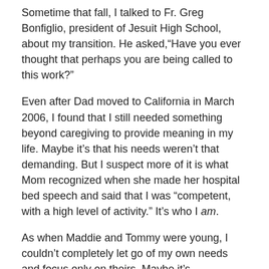Sometime that fall, I talked to Fr. Greg Bonfiglio, president of Jesuit High School, about my transition. He asked,"Have you ever thought that perhaps you are being called to this work?"
Even after Dad moved to California in March 2006, I found that I still needed something beyond caregiving to provide meaning in my life. Maybe it’s that his needs weren’t that demanding. But I suspect more of it is what Mom recognized when she made her hospital bed speech and said that I was “competent, with a high level of activity.” It’s who I am.
As when Maddie and Tommy were young, I couldn’t completely let go of my own needs and focus only on theirs. Maybe it’s selfishness.  Some would certainly say